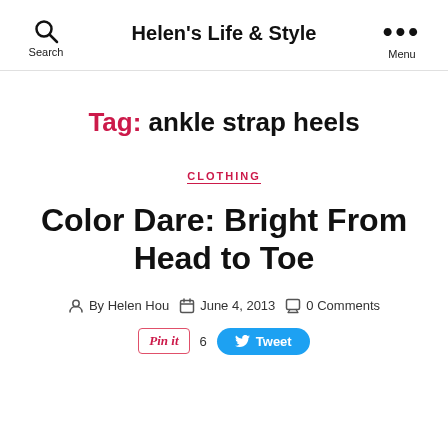Helen's Life & Style
Tag: ankle strap heels
CLOTHING
Color Dare: Bright From Head to Toe
By Helen Hou  June 4, 2013  0 Comments
Pin it  6  Tweet